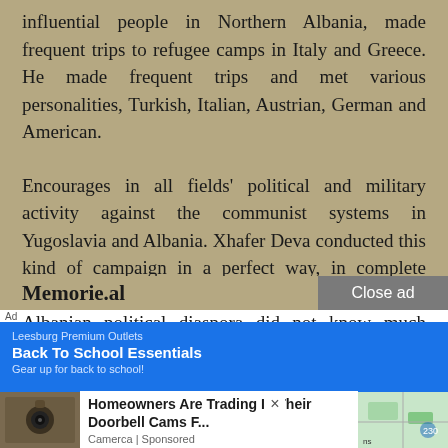influential people in Northern Albania, made frequent trips to refugee camps in Italy and Greece. He made frequent trips and met various personalities, Turkish, Italian, Austrian, German and American.
Encourages in all fields' political and military activity against the communist systems in Yugoslavia and Albania. Xhafer Deva conducted this kind of campaign in a perfect way, in complete silence, without pomp, behind closed doors. The Albanian political diaspora did not know much about Deva's activity at that time.
Memorie.al
[Figure (screenshot): Advertisement overlay: Leesburg Premium Outlets Back To School Essentials banner in blue, and a popup ad for Homeowners Are Trading In Their Doorbell Cams F... by Camerca, Sponsored, with a security camera image on the left and a map thumbnail on the right.]